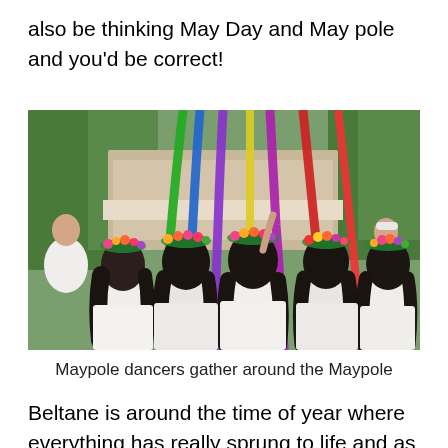also be thinking May Day and May pole and you'd be correct!
[Figure (photo): Group of girls with flower crowns in their hair, seen from behind, holding colorful ribbons attached to a Maypole. The ribbons are green, blue, purple, yellow, and red. Background shows trees and buildings with spectators.]
Maypole dancers gather around the Maypole
Beltane is around the time of year where everything has really sprung to life and as such